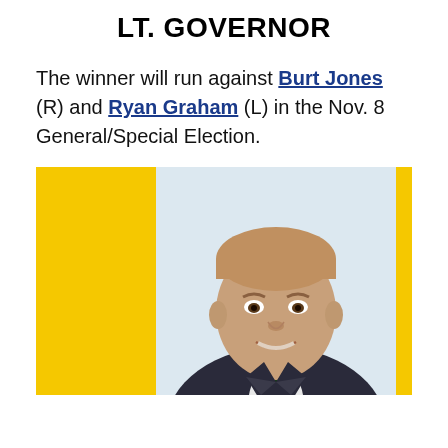LT. GOVERNOR
The winner will run against Burt Jones (R) and Ryan Graham (L) in the Nov. 8 General/Special Election.
[Figure (photo): Headshot of a man in a dark suit with a dark tie, smiling, set against a yellow background panel.]